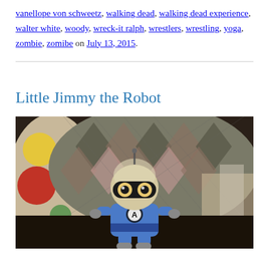vanellope von schweetz, walking dead, walking dead experience, walter white, woody, wreck-it ralph, wrestlers, wrestling, yoga, zombie, zomibe on July 13, 2015.
Little Jimmy the Robot
[Figure (photo): Photo of a small Android robot figurine wearing a blue superhero costume with an 'A' logo on the chest, sitting in front of a knitted cushion with argyle/diamond pattern in gray, pink and tan. On the left is a polka dot cushion with red, yellow, and green circles. The robot has large circular eyes with black masking/glasses design on its head.]